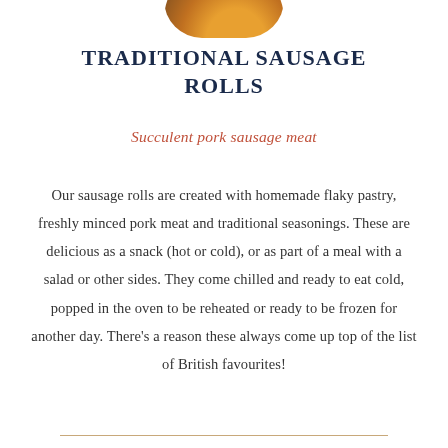[Figure (photo): Partial circular photo of sausage rolls cropped at top of page, showing golden pastry and filling]
TRADITIONAL SAUSAGE ROLLS
Succulent pork sausage meat
Our sausage rolls are created with homemade flaky pastry, freshly minced pork meat and traditional seasonings. These are delicious as a snack (hot or cold), or as part of a meal with a salad or other sides. They come chilled and ready to eat cold, popped in the oven to be reheated or ready to be frozen for another day. There’s a reason these always come up top of the list of British favourites!